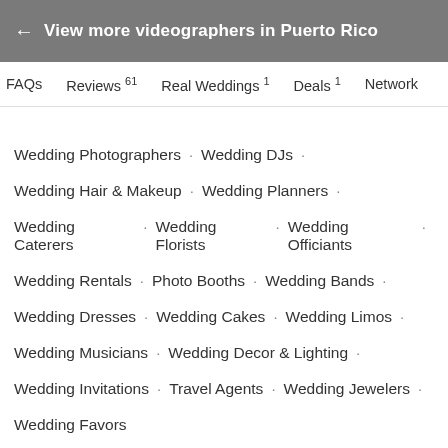← View more videographers in Puerto Rico
FAQs   Reviews 61   Real Weddings 1   Deals 1   Network
Wedding Photographers · Wedding DJs ·
Wedding Hair & Makeup · Wedding Planners ·
Wedding Caterers · Wedding Florists · Wedding Officiants ·
Wedding Rentals · Photo Booths · Wedding Bands ·
Wedding Dresses · Wedding Cakes · Wedding Limos ·
Wedding Musicians · Wedding Decor & Lighting ·
Wedding Invitations · Travel Agents · Wedding Jewelers ·
Wedding Favors